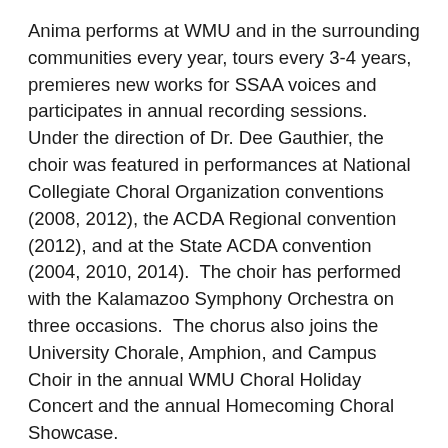Anima performs at WMU and in the surrounding communities every year, tours every 3-4 years, premieres new works for SSAA voices and participates in annual recording sessions. Under the direction of Dr. Dee Gauthier, the choir was featured in performances at National Collegiate Choral Organization conventions (2008, 2012), the ACDA Regional convention (2012), and at the State ACDA convention (2004, 2010, 2014). The choir has performed with the Kalamazoo Symphony Orchestra on three occasions. The chorus also joins the University Chorale, Amphion, and Campus Choir in the annual WMU Choral Holiday Concert and the annual Homecoming Choral Showcase.
Each year, Anima joins with the singers in Amphion (tenor and bass voices) to form Collegiate Singers, a mixed ensemble of 60-100 singers. Collegiate Singers performs several selections on the annual Choral Christmas concert in the fall and presents a choral masterwork performance each spring.